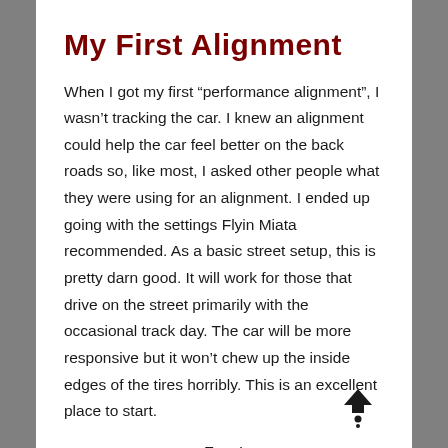My First Alignment
When I got my first “performance alignment”, I wasn’t tracking the car. I knew an alignment could help the car feel better on the back roads so, like most, I asked other people what they were using for an alignment. I ended up going with the settings Flyin Miata recommended. As a basic street setup, this is pretty darn good. It will work for those that drive on the street primarily with the occasional track day. The car will be more responsive but it won’t chew up the inside edges of the tires horribly. This is an excellent place to start.
[Figure (illustration): A navigation/location pin icon pointing upward with a dot below it, rendered in dark color.]
Front